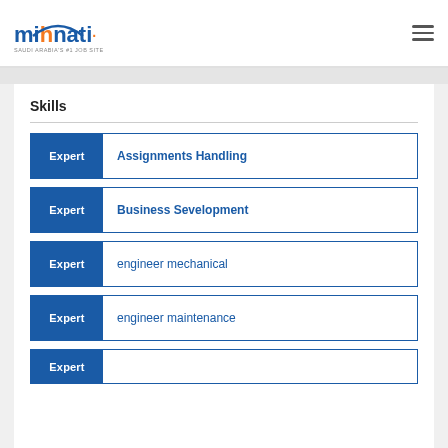mihnati - SAUDI ARABIA'S #1 JOB SITE
Skills
Expert - Assignments Handling
Expert - Business Sevelopment
Expert - engineer mechanical
Expert - engineer maintenance
Expert - (partial, cut off)